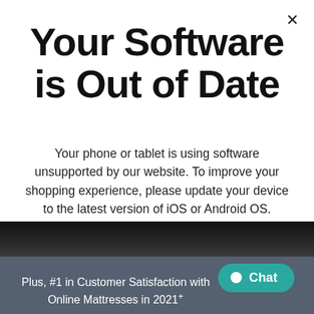Your Software is Out of Date
Your phone or tablet is using software unsupported by our website. To improve your shopping experience, please update your device to the latest version of iOS or Android OS.
Chat
Plus, #1 in Customer Satisfaction with Online Mattresses in 2021+